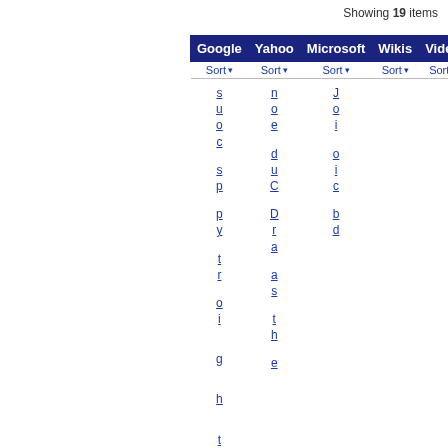Showing 19 items
| Google | Yahoo | Microsoft | Wikis | Video |
| --- | --- | --- | --- | --- |
| s u o c | n o e | J o i |  |
| s p | d u C | o i c |  |
| p y | D r a | b d |  |
| t r | a s |  |  |
| o i | t h |  |  |
| g | e |  |  |
| h |  |  |  |
| t |  |  |  |
| F T c W T S H Z q | A S |  |
| l i r o o i t k i a u | l o |  |
| g a p r a y 5 p o | e n |  |
| h v y d n p p r | x g |  |
| t e r P T o a | a z |  |
| s l i r V s | a |  |
| S g e |  |  |
| e h s |  |  |
| a t s |  |  |
| r |  |  |
| c |  |  |